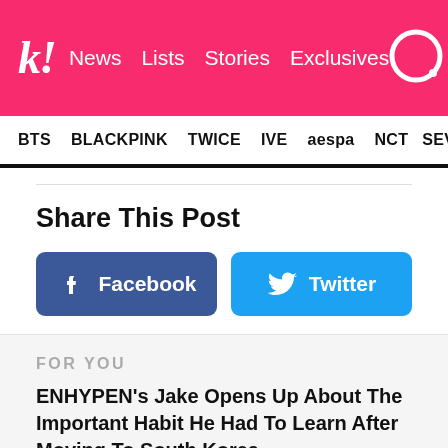k! News Lists Stories Exclusives
BTS BLACKPINK TWICE IVE aespa NCT SEVE
Share This Post
[Figure (infographic): Facebook share button (dark blue rounded rectangle with Facebook logo and text 'Facebook') and Twitter share button (light blue rounded rectangle with Twitter bird logo and text 'Twitter')]
FOR YOU
ENHYPEN's Jake Opens Up About The Important Habit He Had To Learn After Moving To South Korea